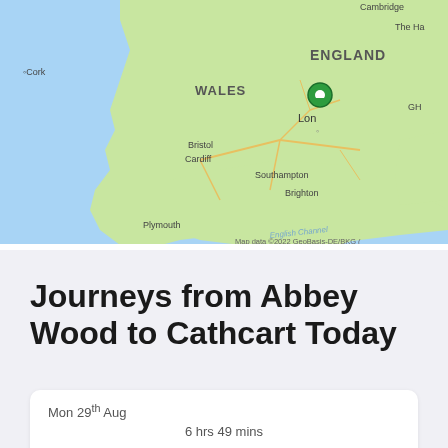[Figure (map): Google Maps showing England and Wales with a green location pin near London. Labels visible: Cork, Wales, England, Cambridge, The H..., Bristol, Cardiff, London, Southampton, Brighton, Plymouth, English Channel, Brus..., GH... Map data ©2022 GeoBasis-DE/BKG Google logo visible.]
Journeys from Abbey Wood to Cathcart Today
Mon 29th Aug
6 hrs 49 mins
05:58  →  12:47